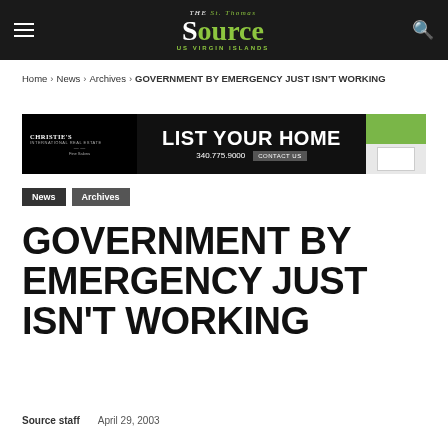The St. Thomas Source — US Virgin Islands
Home › News › Archives › GOVERNMENT BY EMERGENCY JUST ISN'T WORKING
[Figure (other): Christie's International Real Estate advertisement banner: LIST YOUR HOME, 340.775.9000, CONTACT US]
News   Archives
GOVERNMENT BY EMERGENCY JUST ISN'T WORKING
Source staff   April 29, 2003